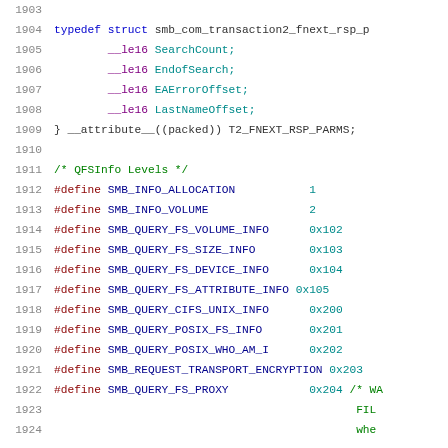Source code snippet showing C struct definition and #define macros for SMB protocol, lines 1903-1924